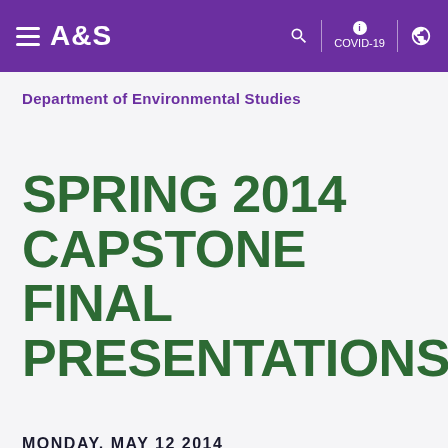A&S | COVID-19
Department of Environmental Studies
SPRING 2014 CAPSTONE FINAL PRESENTATIONS
MONDAY, MAY 12 2014